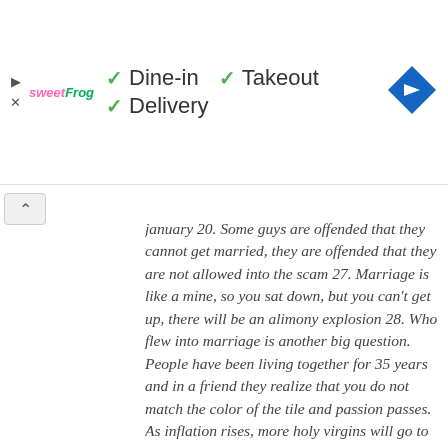[Figure (screenshot): Top bar with sweetFrog logo, dine-in/takeout/delivery checkmarks, and a blue navigation diamond icon]
january 20. Some guys are offended that they cannot get married, they are offended that they are not allowed into the scam 27. Marriage is like a mine, so you sat down, but you can't get up, there will be an alimony explosion 28. Who flew into marriage is another big question. People have been living together for 35 years and in a friend they realize that you do not match the color of the tile and passion passes. As inflation rises, more holy virgins will go to heaven Two women at the table is a quarrel, so they write in the dream book (okay, I made it up) A lot of women in the apartment will break your bladder because they even get sad there If you are in a quarrel, you say yes to a girl, tell me nasty things If you have a rich wife, you are like a Chihuahua in your purse. You meet a girl and you have fears in your head whether she has a knife shocker pepper spray herpis loan madness